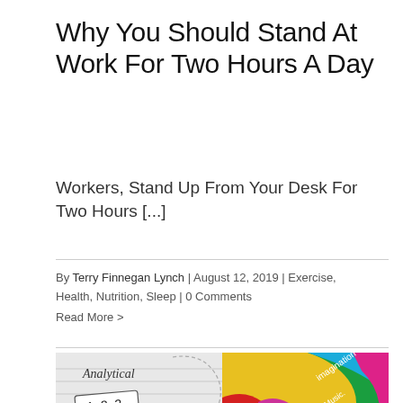Why You Should Stand At Work For Two Hours A Day
Workers, Stand Up From Your Desk For Two Hours [...]
By Terry Finnegan Lynch | August 12, 2019 | Exercise, Health, Nutrition, Sleep | 0 Comments
Read More >
[Figure (illustration): Split illustration of a human brain: left half drawn in grayscale with labels 'Analytical', '1,2,3', 'Reason', 'Science'; right half in colorful pop-art style with labels 'imagination', 'Music', 'love', 'peace']